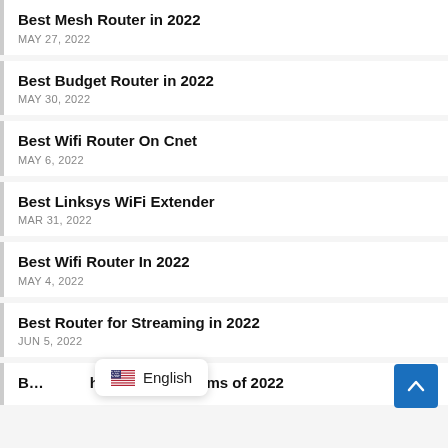Best Mesh Router in 2022
MAY 27, 2022
Best Budget Router in 2022
MAY 30, 2022
Best Wifi Router On Cnet
MAY 6, 2022
Best Linksys WiFi Extender
MAR 31, 2022
Best Wifi Router In 2022
MAY 4, 2022
Best Router for Streaming in 2022
JUN 5, 2022
Best Mesh Network Systems of 2022